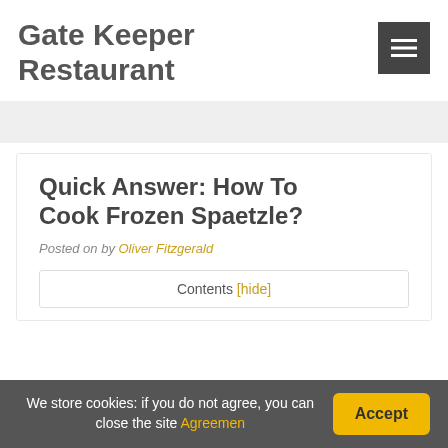Gate Keeper Restaurant
Quick Answer: How To Cook Frozen Spaetzle?
Posted on by Oliver Fitzgerald
Contents [hide]
We store cookies: if you do not agree, you can close the site Agreemen
Accept